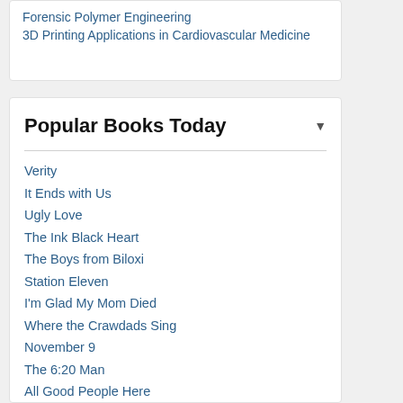Forensic Polymer Engineering
3D Printing Applications in Cardiovascular Medicine
Popular Books Today
Verity
It Ends with Us
Ugly Love
The Ink Black Heart
The Boys from Biloxi
Station Eleven
I'm Glad My Mom Died
Where the Crawdads Sing
November 9
The 6:20 Man
All Good People Here
Carrie Soto Is Back
Girl, Forgotten